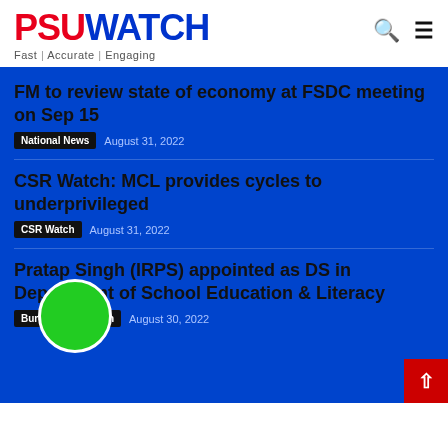PSU WATCH — Fast | Accurate | Engaging
FM to review state of economy at FSDC meeting on Sep 15
National News  August 31, 2022
CSR Watch: MCL provides cycles to underprivileged
CSR Watch  August 31, 2022
Pratap Singh (IRPS) appointed as DS in Department of School Education & Literacy
Bureaucracy Watch  August 30, 2022
[Figure (other): Green circle UI element on blue background]
[Figure (other): Red back-to-top button with white up arrow]